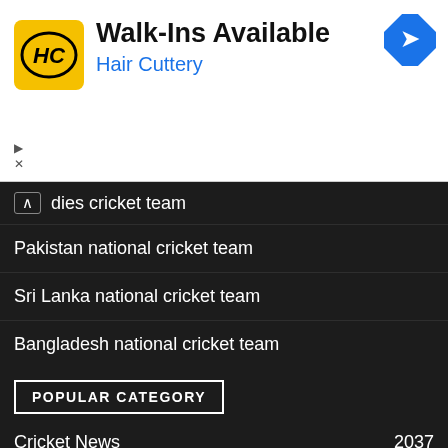[Figure (other): Hair Cuttery advertisement banner with logo, 'Walk-Ins Available' heading, brand name, and navigation map icon]
dies cricket team
Pakistan national cricket team
Sri Lanka national cricket team
Bangladesh national cricket team
POPULAR CATEGORY
Cricket News   2037
IPL 2021   873
IPL 2022   789
India   594
Mumbai Indians   223
Cricketer Profile   220